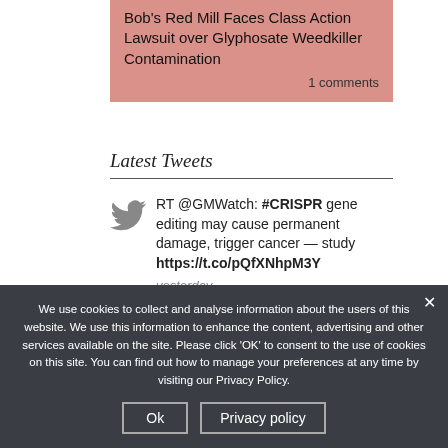Bob's Red Mill Faces Class Action Lawsuit over Glyphosate Weedkiller Contamination
1 comments
Latest Tweets
RT @GMWatch: #CRISPR gene editing may cause permanent damage, trigger cancer — study https://t.co/pQfXNhpM3Y yesterday
Clear and present labels: Thailand mandates GMO
We use cookies to collect and analyse information about the users of this website. We use this information to enhance the content, advertising and other services available on the site. Please click 'OK' to consent to the use of cookies on this site. You can find out how to manage your preferences at any time by visiting our Privacy Policy.
Ok
Privacy policy